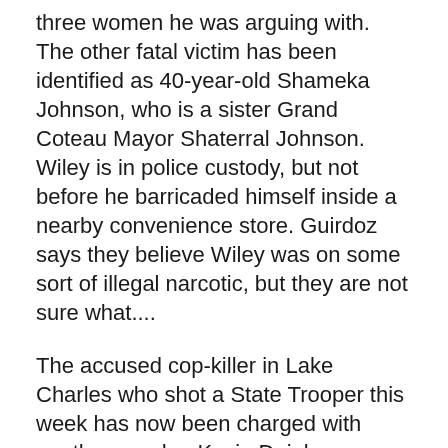three women he was arguing with. The other fatal victim has been identified as 40-year-old Shameka Johnson, who is a sister Grand Coteau Mayor Shaterral Johnson. Wiley is in police custody, but not before he barricaded himself inside a nearby convenience store. Guirdoz says they believe Wiley was on some sort of illegal narcotic, but they are not sure what....
The accused cop-killer in Lake Charles who shot a State Trooper this week has now been charged with another murder. Kevin Daigle reportedly shot and killed 54 year-old Blake Brewer of Moss Bluff, who was sharing a residence with him. Calcasieu Parish Sheriff's Deputies believe the same gun was used for the killing of Trooper Steven Vincent.
The Natchitoches Parish Sheriff's Office reports a Houston man was killed early Wednesday at the RoyOMartin plywood plant in Chopin. No details are available at this time as to how the death occurred. The Man, who was ID'd as 50 year old Scott Randall Whitehead, was taken to Rapides Regional Medical